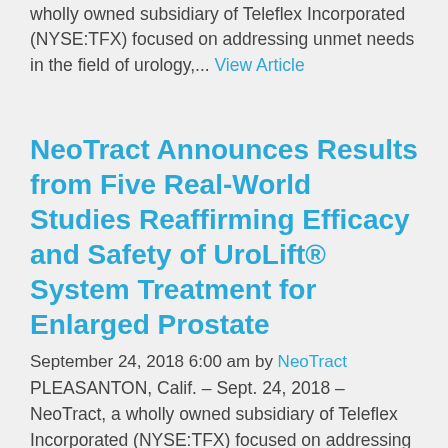wholly owned subsidiary of Teleflex Incorporated (NYSE:TFX) focused on addressing unmet needs in the field of urology,... View Article
NeoTract Announces Results from Five Real-World Studies Reaffirming Efficacy and Safety of UroLift® System Treatment for Enlarged Prostate
September 24, 2018 6:00 am by NeoTract
PLEASANTON, Calif. – Sept. 24, 2018 – NeoTract, a wholly owned subsidiary of Teleflex Incorporated (NYSE:TFX) focused on addressing unmet needs in the field of urology,... View Article